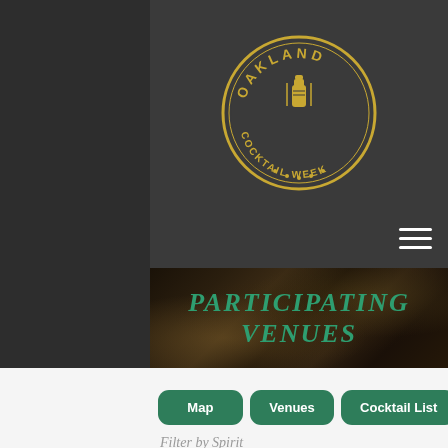[Figure (logo): Oakland Cocktail Week circular badge logo with yellow text and cocktail shaker illustration]
[Figure (other): Hamburger menu icon (three horizontal white lines) in top right area]
[Figure (photo): Banner photo of cocktail bar equipment with text 'PARTICIPATING VENUES' overlaid in teal/green italic letters]
Map
Venues
Cocktail List
Filter by Spirit